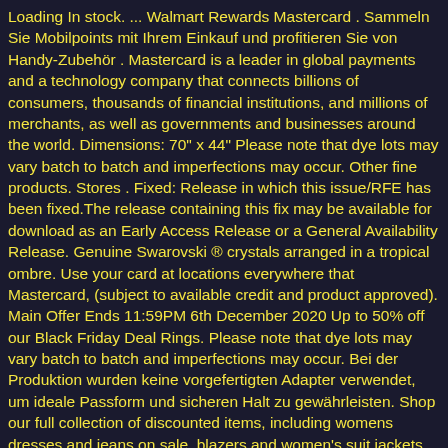Loading In stock. ... Walmart Rewards Mastercard . Sammeln Sie Mobilpoints mit Ihrem Einkauf und profitieren Sie von Handy-Zubehör . Mastercard is a leader in global payments and a technology company that connects billions of consumers, thousands of financial institutions, and millions of merchants, as well as governments and businesses around the world. Dimensions: 70" x 44" Please note that dye lots may vary batch to batch and imperfections may occur. Other fine products. Stores . Fixed: Release in which this issue/RFE has been fixed.The release containing this fix may be available for download as an Early Access Release or a General Availability Release. Genuine Swarovski ® crystals arranged in a tropical ombre. Use your card at locations everywhere that Mastercard, (subject to available credit and product approved). Main Offer Ends 11:59PM 6th December 2020 Up to 50% off our Black Friday Deal Rings. Please note that dye lots may vary batch to batch and imperfections may occur. Bei der Produktion wurden keine vorgefertigten Adapter verwendet, um ideale Passform und sicheren Halt zu gewährleisten. Shop our full collection of discounted items, including womens dresses and jeans on sale, blazers and women's suit jackets on sale, women's shoes on sale & more. Continental Finance Cerulean Mastercard credit card details, rates, reviews and tools to help credit card applicants and cardholders. inkl. Your Apple ID is the account you use for all Apple services. Mehr. Choose your monthly payment due date for added convenience. Exklusive. AZi Vorteile. Genauere und ...